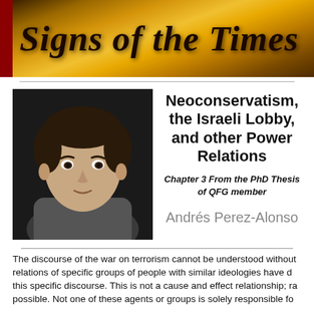Signs of the Times
[Figure (photo): Portrait photo of Andrés Perez-Alonso, a man with dark hair wearing a grey shirt, against a dark background]
Neoconservatism, the Israeli Lobby, and other Power Relations
Chapter 3 From the PhD Thesis of QFG member
Andrés Perez-Alonso
The discourse of the war on terrorism cannot be understood without relations of specific groups of people with similar ideologies have d this specific discourse. This is not a cause and effect relationship; ra possible. Not one of these agents or groups is solely responsible fo